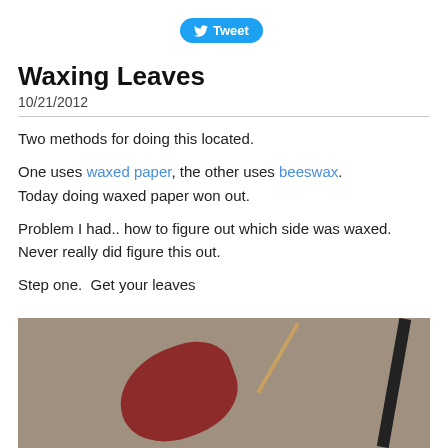[Figure (other): Twitter Tweet button with bird icon]
Waxing Leaves
10/21/2012
Two methods for doing this located.
One uses waxed paper, the other uses beeswax. Today doing waxed paper won out.
Problem I had.. how to figure out which side was waxed. Never really did figure this out.
Step one.  Get your leaves
[Figure (photo): Photo of red autumn leaves on a table surface with a stem and dark stripe in background]